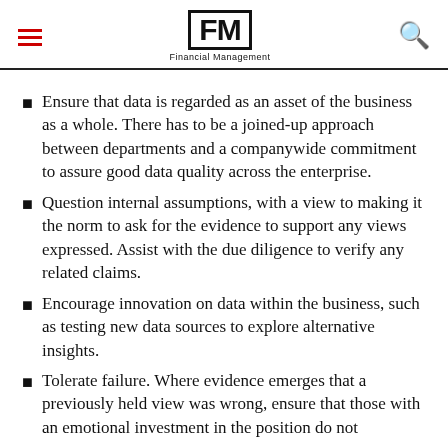FM Financial Management
Ensure that data is regarded as an asset of the business as a whole. There has to be a joined-up approach between departments and a companywide commitment to assure good data quality across the enterprise.
Question internal assumptions, with a view to making it the norm to ask for the evidence to support any views expressed. Assist with the due diligence to verify any related claims.
Encourage innovation on data within the business, such as testing new data sources to explore alternative insights.
Tolerate failure. Where evidence emerges that a previously held view was wrong, ensure that those with an emotional investment in the position do not